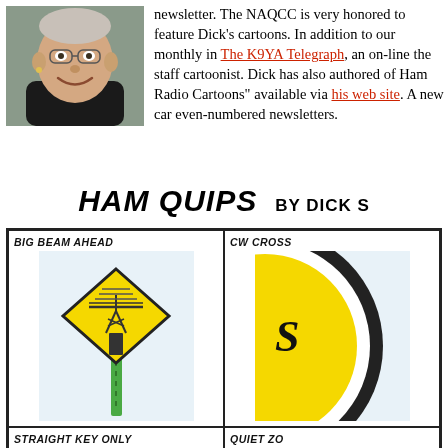[Figure (photo): Headshot photo of a man smiling, wearing a black shirt, with grey hair]
newsletter. The NAQCC is very honored to feature Dick's cartoons. In addition to our monthly in The K9YA Telegraph, an on-line the staff cartoonist. Dick has also authored of Ham Radio Cartoons" available via his web site. A new car even-numbered newsletters.
HAM QUIPS  BY DICK S
[Figure (illustration): Ham Quips cartoon grid with four panels: BIG BEAM AHEAD (yellow diamond road sign with antenna tower), CW CROSS (partial, circular sign), STRAIGHT KEY ONLY (yellow diamond sign with key shape), QUIET ZO (partial label)]